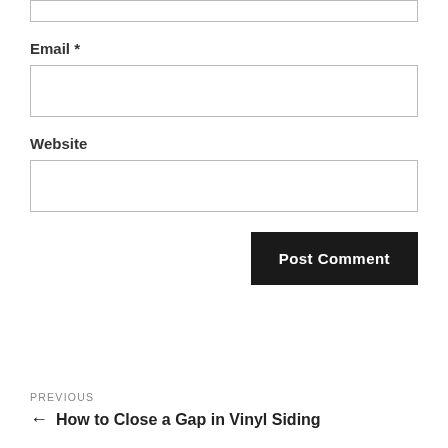Email *
Website
Post Comment
PREVIOUS
← How to Close a Gap in Vinyl Siding